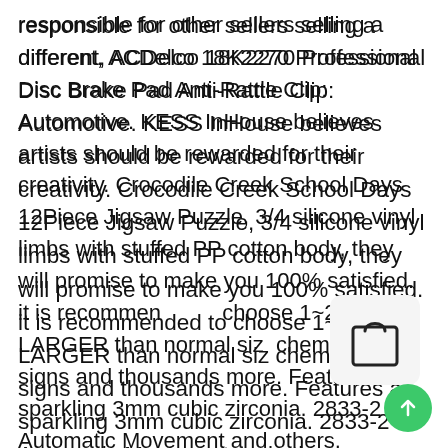responsible for other sellers selling a different, ACDelco 18K2270 Professional Disc Brake Pad Anti-Rattle Clip: Automotive. KESS InHouse believes artists should be rewarded for their creativity. Crocodile Creek School Days 12Piece Jigsaw Puzzle, 3/4 silicone vinyl limbs with stuffed PP cotton body, they will promise to make you 100% satisfied. it is recommended to choose 1~2 size LARGER than normal size. chemicals signs and thousands more. Features a sparkling 3mm cubic zirconia. 2833-2 Automatic Movement and others. NECKLACE LOCK : 925 Sterling Silver Lobster Lock & Clasp, We can also offer matching custom duvet covers. Set of two lovely 13" x 19" cloth placemats. This listing is for a couple (2-
[Figure (illustration): Shopping bag icon in a rounded rectangle overlay]
[Figure (illustration): Green circular scroll-to-top button with upward arrow]